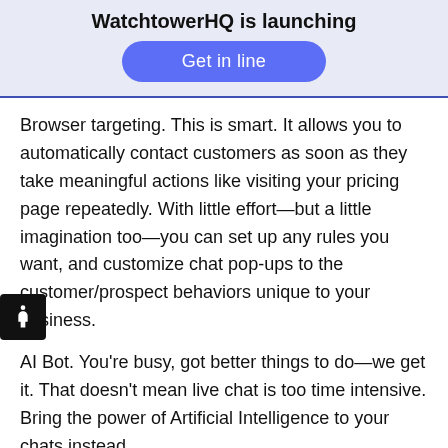WatchtowerHQ is launching
Get in line
Browser targeting. This is smart. It allows you to automatically contact customers as soon as they take meaningful actions like visiting your pricing page repeatedly. With little effort—but a little imagination too—you can set up any rules you want, and customize chat pop-ups to the customer/prospect behaviors unique to your business.
AI Bot. You're busy, got better things to do—we get it. That doesn't mean live chat is too time intensive. Bring the power of Artificial Intelligence to your chats instead.
App integration. If your business has its own mobile app, Drift will integrate right in, giving you an easy way to communicate everything from just-released app features to